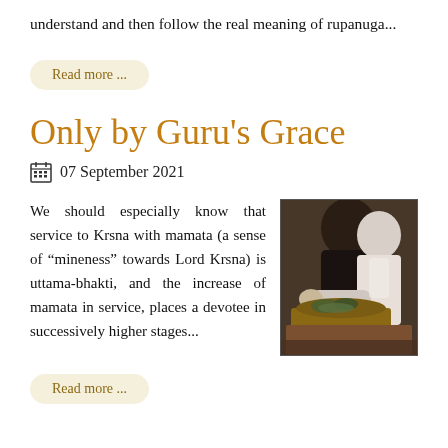understand and then follow the real meaning of rupanuga...
Read more ...
Only by Guru's Grace
07 September 2021
We should especially know that service to Krsna with mamata (a sense of “mineness” towards Lord Krsna) is uttama-bhakti, and the increase of mamata in service, places a devotee in successively higher stages...
[Figure (photo): Photo of an elderly man performing a religious offering or puja ritual with others around him]
Read more ...